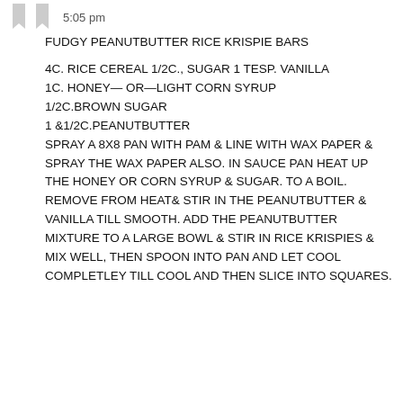5:05 pm
FUDGY PEANUTBUTTER RICE KRISPIE BARS
4C. RICE CEREAL 1/2C., SUGAR 1 TESP. VANILLA
1C. HONEY— OR—LIGHT CORN SYRUP
1/2C.BROWN SUGAR
1 &1/2C.PEANUTBUTTER
SPRAY A 8X8 PAN WITH PAM & LINE WITH WAX PAPER & SPRAY THE WAX PAPER ALSO. IN SAUCE PAN HEAT UP THE HONEY OR CORN SYRUP & SUGAR. TO A BOIL. REMOVE FROM HEAT& STIR IN THE PEANUTBUTTER & VANILLA TILL SMOOTH. ADD THE PEANUTBUTTER MIXTURE TO A LARGE BOWL & STIR IN RICE KRISPIES & MIX WELL, THEN SPOON INTO PAN AND LET COOL COMPLETLEY TILL COOL AND THEN SLICE INTO SQUARES.